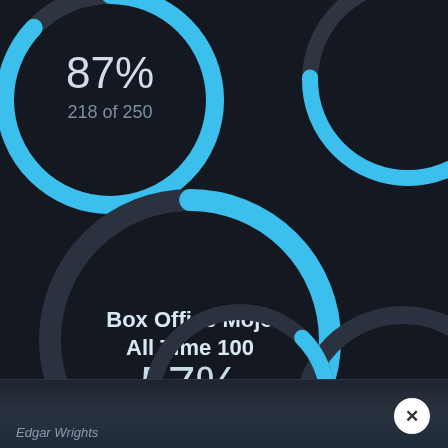[Figure (donut-chart): 87%]
[Figure (donut-chart): Partially visible donut chart top right]
[Figure (donut-chart): Box Office Mojo All Time 100 — 57%]
[Figure (donut-chart): Partially visible donut chart right side]
[Figure (donut-chart): Partially visible donut chart bottom center]
Edgar Wrights